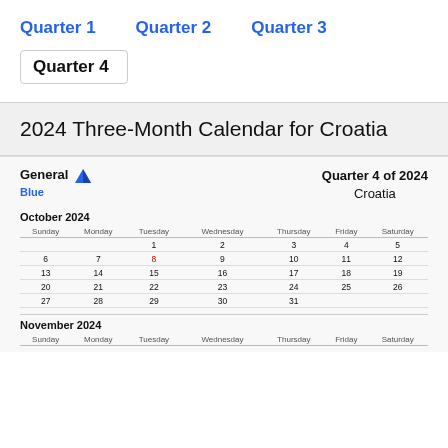Quarter 1   Quarter 2   Quarter 3
Quarter 4
2024 Three-Month Calendar for Croatia
[Figure (other): Calendar showing Quarter 4 of 2024 for Croatia with GeneralBlue logo, October 2024 and November 2024 months shown]
Quarter 4 of 2024 — Croatia